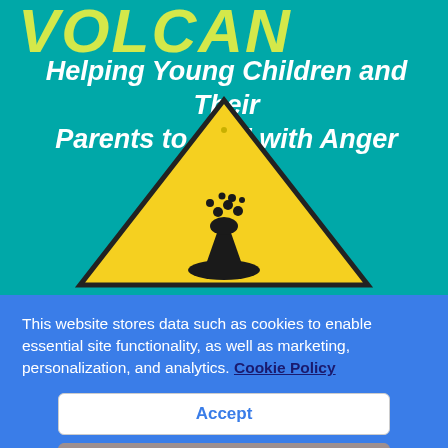[Figure (illustration): Book cover with teal/turquoise background showing the word VOLCAN... in large yellow-green italic letters at top, subtitle text in white italic, and a yellow warning triangle sign with a black volcano eruption icon in the center.]
VOLCAN...
Helping Young Children and Their Parents to Deal with Anger
This website stores data such as cookies to enable essential site functionality, as well as marketing, personalization, and analytics. Cookie Policy
Accept
Deny